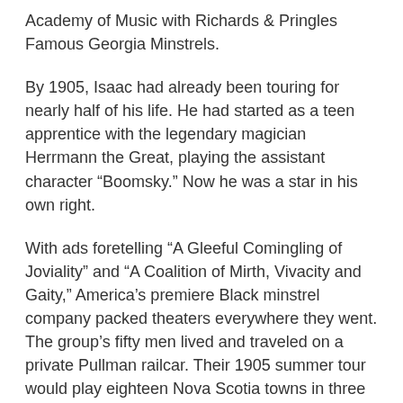Academy of Music with Richards & Pringles Famous Georgia Minstrels.
By 1905, Isaac had already been touring for nearly half of his life. He had started as a teen apprentice with the legendary magician Herrmann the Great, playing the assistant character “Boomsky.” Now he was a star in his own right.
With ads foretelling “A Gleeful Comingling of Joviality” and “A Coalition of Mirth, Vivacity and Gaity,” America’s premiere Black minstrel company packed theaters everywhere they went. The group’s fifty men lived and traveled on a private Pullman railcar. Their 1905 summer tour would play eighteen Nova Scotia towns in three weeks, including a three-day stand in Halifax.
That evening Blanche jostled her way to her seat at the Academy of Music. The capacity crowd howled at the opening comedy skits then tapped